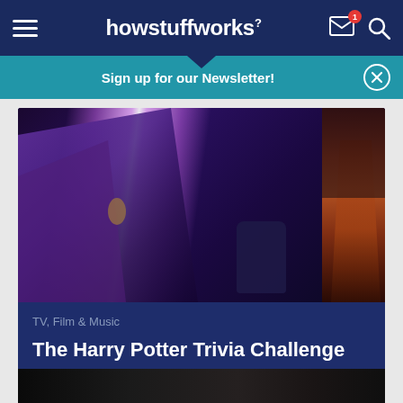howstuffworks
Sign up for our Newsletter!
[Figure (photo): Scene from Harry Potter movie showing a glowing magical light beam, a robed figure on the left, and a crouching figure in the center with dark decorative elements on the right]
TV, Film & Music
The Harry Potter Trivia Challenge
[Figure (photo): Partial view of a second article image at the bottom of the screen, mostly dark/black]